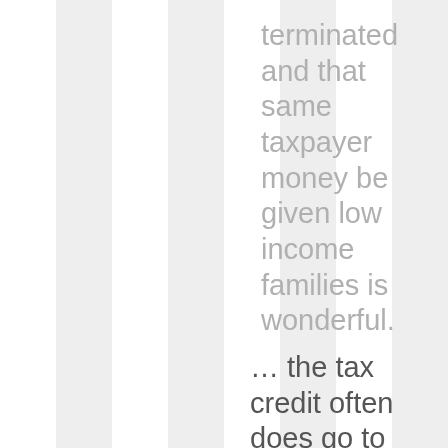terminated and that same taxpayer money be given low income families is wonderful.
… the tax credit often does go to